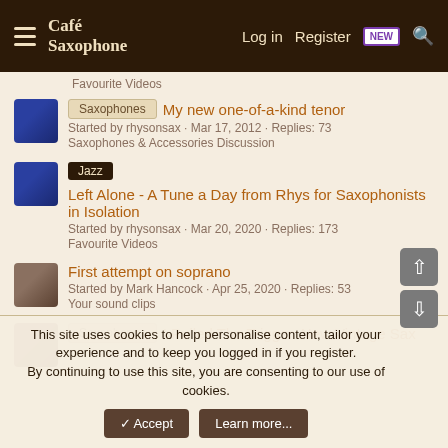Café Saxophone — Log in Register NEW
Favourite Videos
Saxophones — My new one-of-a-kind tenor
Started by rhysonsax · Mar 17, 2012 · Replies: 73
Saxophones & Accessories Discussion
Jazz — Left Alone - A Tune a Day from Rhys for Saxophonists in Isolation
Started by rhysonsax · Mar 20, 2020 · Replies: 173
Favourite Videos
First attempt on soprano
Started by Mark Hancock · Apr 25, 2020 · Replies: 53
Your sound clips
Saxophones — I Pulled The Trigger. New Vintage Sax
This site uses cookies to help personalise content, tailor your experience and to keep you logged in if you register.
By continuing to use this site, you are consenting to our use of cookies.